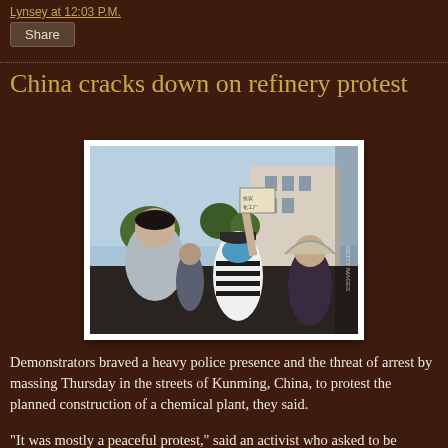Lynsey at 12:03 P.M.
Share
China cracks down on refinery protest
[Figure (photo): Protesters in the streets of Kunming, China. A masked demonstrator in a striped shirt raises a fist holding a sign. Other protesters visible, one holding an umbrella.]
Demonstrators braved a heavy police presence and the threat of arrest by massing Thursday in the streets of Kunming, China, to protest the planned construction of a chemical plant, they said.
"It was mostly a peaceful protest," said an activist who asked to be identified only by his family name, Young. "We were singing the national anthem, shouting 'Get out, refinery!'